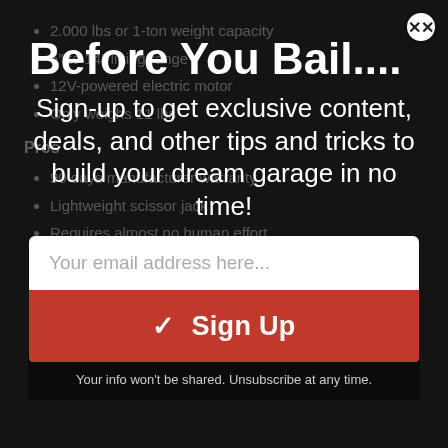2.000 lbs or 1-ton weight capacity
5″ to 14″ lifting range
12V-powered electric motor
Only weighs 11 lbs
Pros
90 days manufacturer warranty
Lightweight scissor jack
Requires almost no human effort
Quick setup
Easy controls for effortless lifting
Compact design
Strong frame
Before You Bail....
Sign-up to get exclusive content, deals, and other tips and tricks to build your dream garage in no time!
Your email address here...
✓ Sign Up
Your info won't be shared. Unsubscribe at any time.